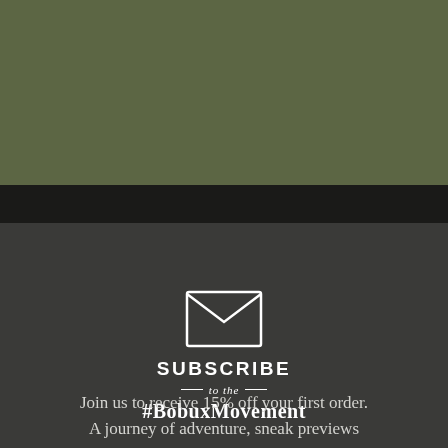[Figure (illustration): Olive/khaki green colored band at top of page]
[Figure (illustration): Dark near-black horizontal band separating olive from dark grey section]
[Figure (illustration): Simple white outline envelope icon — rectangular body with V-shaped flap line]
SUBSCRIBE
— to the —
#BobuxMovement
Join us to receive 15% off your first order. A journey of adventure, sneak previews and special offers awaits you. *Discount does not apply to sale or last chance items.